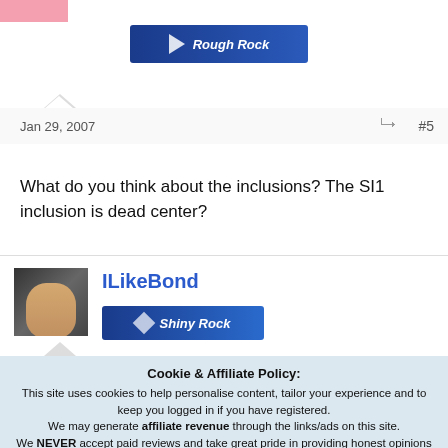[Figure (illustration): Pink avatar placeholder at top left]
[Figure (logo): Rough Rock badge - blue gradient badge with arrow and italic text]
Jan 29, 2007
#5
What do you think about the inclusions? The SI1 inclusion is dead center?
[Figure (photo): Avatar photo of ILikeBond user showing a man in dark clothing]
ILikeBond
[Figure (logo): Shiny Rock badge - blue gradient badge with diamond icon and italic text]
Cookie & Affiliate Policy:
This site uses cookies to help personalise content, tailor your experience and to keep you logged in if you have registered.
We may generate affiliate revenue through the links/ads on this site.
We NEVER accept paid reviews and take great pride in providing honest opinions and objective information on products & services.
By continuing to use this site, you are consenting to our use of cookie policy.
✓ Accept
Learn more...